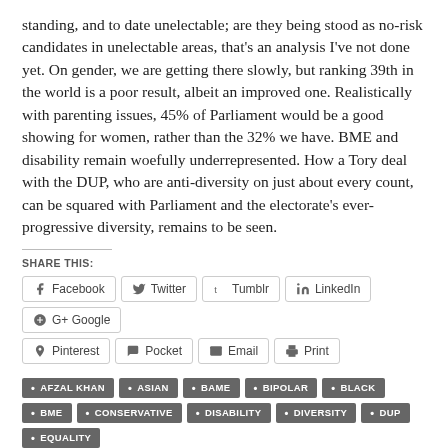standing, and to date unelectable; are they being stood as no-risk candidates in unelectable areas, that's an analysis I've not done yet. On gender, we are getting there slowly, but ranking 39th in the world is a poor result, albeit an improved one. Realistically with parenting issues, 45% of Parliament would be a good showing for women, rather than the 32% we have. BME and disability remain woefully underrepresented. How a Tory deal with the DUP, who are anti-diversity on just about every count, can be squared with Parliament and the electorate's ever-progressive diversity, remains to be seen.
SHARE THIS:
Facebook
Twitter
Tumblr
LinkedIn
Google
Pinterest
Pocket
Email
Print
AFZAL KHAN
ASIAN
BAME
BIPOLAR
BLACK
BME
CONSERVATIVE
DISABILITY
DIVERSITY
DUP
EQUALITY